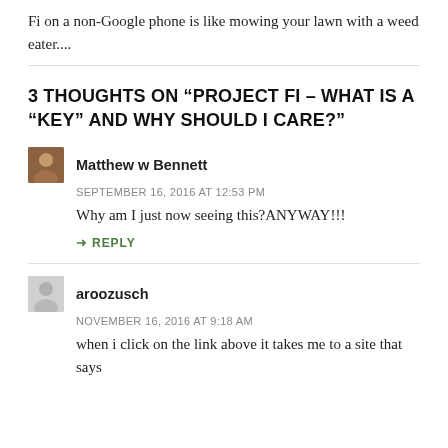Fi on a non-Google phone is like mowing your lawn with a weed eater....
3 THOUGHTS ON “PROJECT FI – WHAT IS A “KEY” AND WHY SHOULD I CARE?”
Matthew w Bennett
SEPTEMBER 16, 2016 AT 12:53 PM
Why am I just now seeing this?ANYWAY!!!
REPLY
aroozusch
NOVEMBER 16, 2016 AT 9:18 AM
when i click on the link above it takes me to a site that says